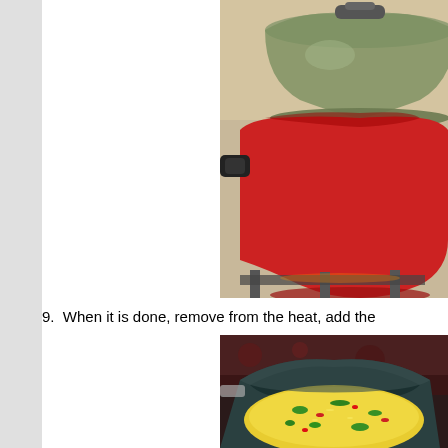[Figure (photo): A red wok/pan with a glass lid on a stovetop burner, photographed from the side showing the pan in use with steam or condensation on the lid.]
9.  When it is done, remove from the heat, add the
[Figure (photo): A dark non-stick pan or wok containing yellow rice with colorful vegetables including green herbs and red peppers, viewed from above at an angle.]